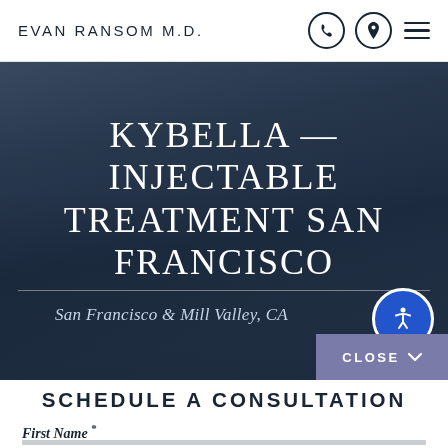EVAN RANSOM M.D.
[Figure (screenshot): Hero image with dark overlay showing San Francisco cityscape/bridge, with large white title text 'KYBELLA — INJECTABLE TREATMENT SAN FRANCISCO', a horizontal divider line, italic subtitle 'San Francisco & Mill Valley, CA', a blue accessibility icon button, and a purple 'CLOSE ∨' button.]
SCHEDULE A CONSULTATION
First Name *